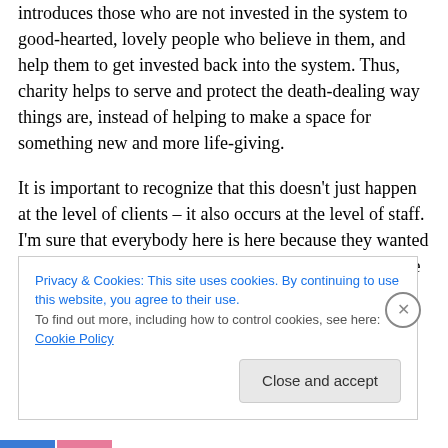introduces those who are not invested in the system to good-hearted, lovely people who believe in them, and help them to get invested back into the system. Thus, charity helps to serve and protect the death-dealing way things are, instead of helping to make a space for something new and more life-giving.
It is important to recognize that this doesn't just happen at the level of clients – it also occurs at the level of staff. I'm sure that everybody here is here because they wanted to participate in that which is life-giving and change the world
Privacy & Cookies: This site uses cookies. By continuing to use this website, you agree to their use.
To find out more, including how to control cookies, see here: Cookie Policy
Close and accept